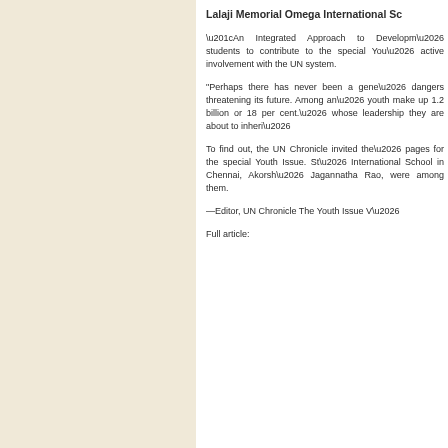Lalaji Memorial Omega International Sc
“An Integrated Approach to Development… students to contribute to the special Youth… active involvement with the UN system.
"Perhaps there has never been a gene… dangers threatening its future. Among an… youth make up 1.2 billion or 18 per cent.… whose leadership they are about to inheri…
To find out, the UN Chronicle invited the… pages for the special Youth Issue. St… International School in Chennai, Akorsh… Jagannatha Rao, were among them.
—Editor, UN Chronicle The Youth Issue V…
Full article: